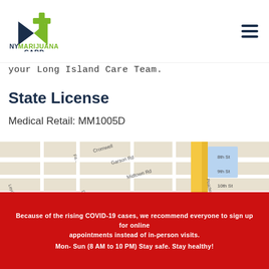[Figure (logo): NY Marijuana Card logo with green and dark blue cannabis leaf / cross symbol above the text NYMARIJUANA CARD]
your Long Island Care Team.
State License
Medical Retail: MM1005D
[Figure (map): Google Maps screenshot showing street map with Curaleaf NY Carle Place location marker, streets including Jamaica Blvd, 8th St through 12th St, Peachtree Ln, Cromwell, Garson Rd, Midtown Rd, Raff Ave, Hill St, Donna Ln, Barwick Blvd]
Because of the rising COVID-19 cases, we recommend everyone to sign up for online appointments instead of in-person visits.
Mon- Sun (8 AM to 10 PM) Stay safe. Stay healthy!